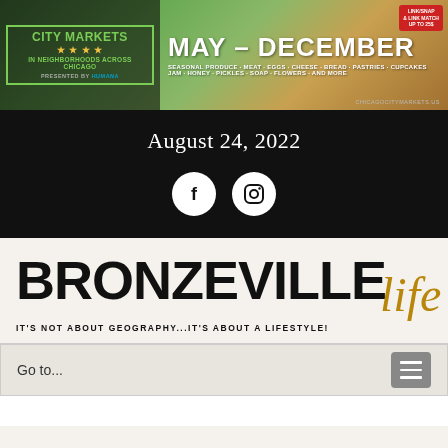[Figure (illustration): City Markets banner advertisement showing green/earthy background with 'CITY MARKETS IN NEIGHBORHOODS ACROSS CHICAGO' logo on left and 'MAY - DECEMBER' text with seasonal produce listing on right]
August 24, 2022
[Figure (illustration): Two white circular social media icons: Facebook (f) and Instagram (camera) on black background]
[Figure (logo): Bronzeville Life logo - bold black uppercase BRONZEVILLE with gold italic 'life' script overlay, tagline: IT'S NOT ABOUT GEOGRAPHY...IT'S ABOUT A LIFESTYLE!]
Go to...